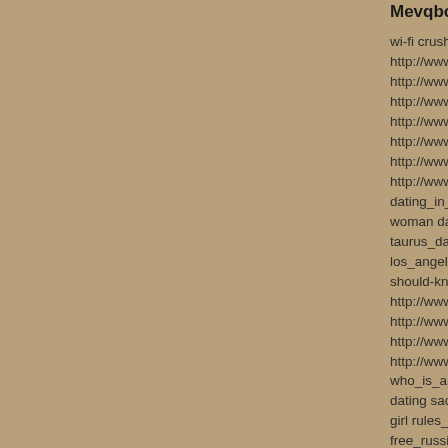Mevqboxq   23.12.17
wi-fi crush, http://www.generaccion.com http://www.generaccion.com http://www.generaccion.com http://www.generaccion.com http://www.generaccion.com http://www.generaccion.com http://www.generaccion.com http://www.generaccion.com dating_in_middle_school_ya woman dating_a_strong_min taurus_dating_website, http: los_angeles_hook_up_sites, should-know dating_a_divor http://www.generaccion.com http://www.generaccion.com http://www.generaccion.com http://www.generaccion.com who_is_andrew_garfield_da dating sacramento_senior_s girl rules_for_dating_a_sarc free_russian_dating_website rec_after_dating_crux?